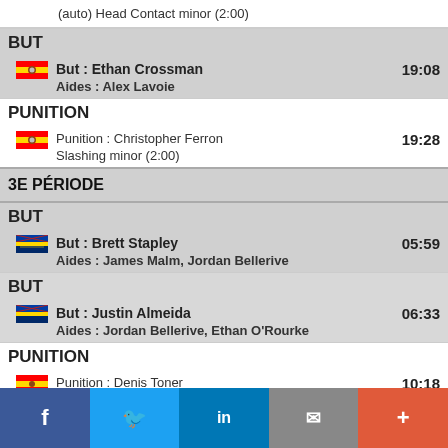(auto) Head Contact minor (2:00)
BUT
But : Ethan Crossman 19:08
Aides : Alex Lavoie
PUNITION
Punition : Christopher Ferron 19:28
Slashing minor (2:00)
3E PÉRIODE
BUT
But : Brett Stapley 05:59
Aides : James Malm, Jordan Bellerive
BUT
But : Justin Almeida 06:33
Aides : Jordan Bellerive, Ethan O'Rourke
PUNITION
Punition : Denis Toner 10:18